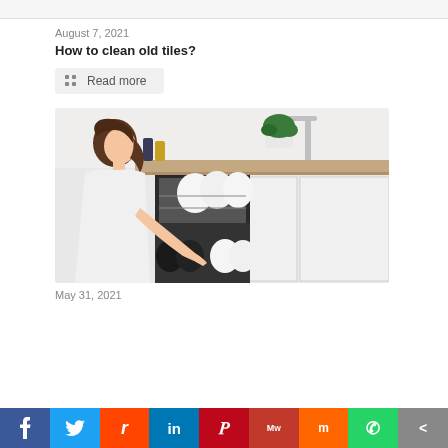August 7, 2021
How to clean old tiles?
Read more
[Figure (photo): Woman loading dishes into a dishwasher in a modern kitchen]
May 31, 2021
Social sharing bar: Facebook, Twitter, Reddit, LinkedIn, Pinterest, MeWe, Mix, WhatsApp, Share